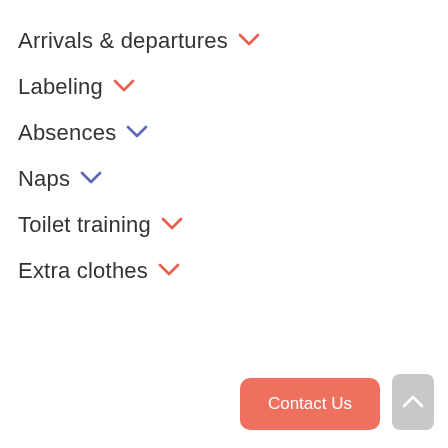Arrivals & departures
Labeling
Absences
Naps
Toilet training
Extra clothes